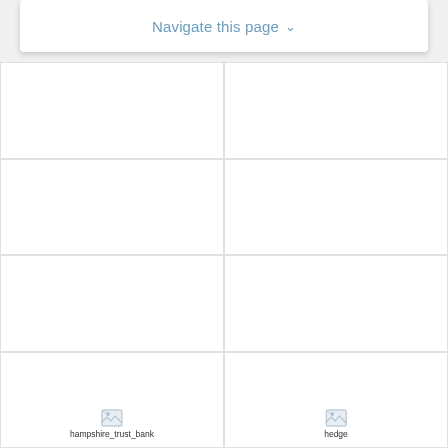Navigate this page ˅
[Figure (screenshot): Empty grid cell top-left]
[Figure (screenshot): Empty grid cell top-right]
[Figure (screenshot): Empty grid cell middle-left row 2]
[Figure (screenshot): Empty grid cell middle-right row 2]
[Figure (screenshot): Empty grid cell middle-left row 3]
[Figure (screenshot): Empty grid cell middle-right row 3]
[Figure (screenshot): Grid cell bottom-left with hampshire_trust_bank broken image]
[Figure (screenshot): Grid cell bottom-right with hedge broken image]